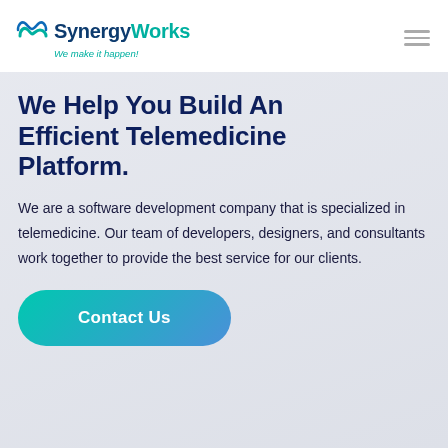[Figure (logo): SynergyWorks logo with teal wave icon, dark blue 'SynergyWorks' text, and teal italic tagline 'We make it happen!']
We Help You Build An Efficient Telemedicine Platform.
We are a software development company that is specialized in telemedicine. Our team of developers, designers, and consultants work together to provide the best service for our clients.
Contact Us